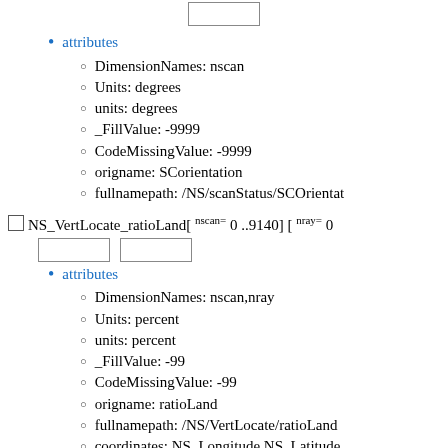[Figure (other): Input box UI element at top of page]
attributes
DimensionNames: nscan
Units: degrees
units: degrees
_FillValue: -9999
CodeMissingValue: -9999
origname: SCorientation
fullnamepath: /NS/scanStatus/SCOrientat
NS_VertLocate_ratioLand[ nscan= 0 ..9140] [ nray= 0
[Figure (other): Two input boxes UI element]
attributes
DimensionNames: nscan,nray
Units: percent
units: percent
_FillValue: -99
CodeMissingValue: -99
origname: ratioLand
fullnamepath: /NS/VertLocate/ratioLand
coordinates: NS_Longitude NS_Latitude
NS_VertLocate_binDEM[ nscan= 0 ..9140] [ nray= 0